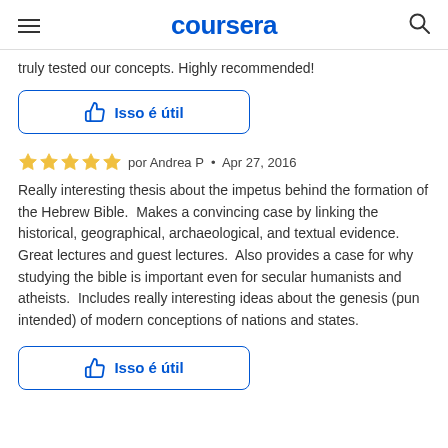coursera
truly tested our concepts.  Highly recommended!
[Figure (other): Isso é útil (thumbs up like button)]
por Andrea P  •  Apr 27, 2016
Really interesting thesis about the impetus behind the formation of the Hebrew Bible.  Makes a convincing case by linking the historical, geographical, archaeological, and textual evidence.  Great lectures and guest lectures.  Also provides a case for why studying the bible is important even for secular humanists and atheists.  Includes really interesting ideas about the genesis (pun intended) of modern conceptions of nations and states.
[Figure (other): Isso é útil (thumbs up like button)]